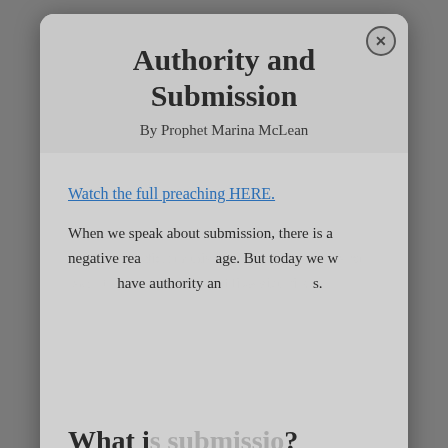Authority and Submission
By Prophet Marina McLean
Watch the full preaching HERE.
When we speak about submission, there is a negative rea... age. But today we w... have authority an... s.
[Figure (illustration): Popup advertisement for CAP 2022 Days of Glory event, Oct. 14-15, King Jesus Miami]
What i...?